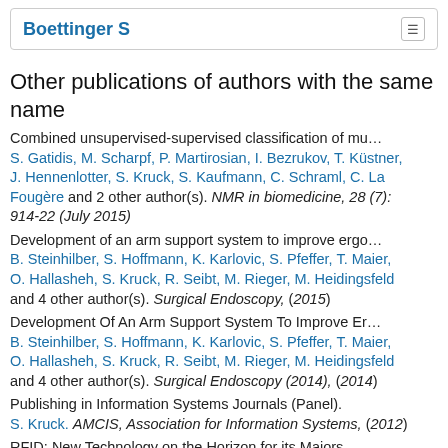Boettinger S
Other publications of authors with the same name
Combined unsupervised-supervised classification of mu… S. Gatidis, M. Scharpf, P. Martirosian, I. Bezrukov, T. Küstner, J. Hennenlotter, S. Kruck, S. Kaufmann, C. Schraml, C. La Fougère and 2 other author(s). NMR in biomedicine, 28 (7): 914-22 (July 2015)
Development of an arm support system to improve ergo… B. Steinhilber, S. Hoffmann, K. Karlovic, S. Pfeffer, T. Maier, O. Hallasheh, S. Kruck, R. Seibt, M. Rieger, M. Heidingsfeld and 4 other author(s). Surgical Endoscopy, (2015)
Development Of An Arm Support System To Improve Er… B. Steinhilber, S. Hoffmann, K. Karlovic, S. Pfeffer, T. Maier, O. Hallasheh, S. Kruck, R. Seibt, M. Rieger, M. Heidingsfeld and 4 other author(s). Surgical Endoscopy (2014), (2014)
Publishing in Information Systems Journals (Panel). S. Kruck. AMCIS, Association for Information Systems, (2012)
RFID: New Technology on the Horizon for its Majors…